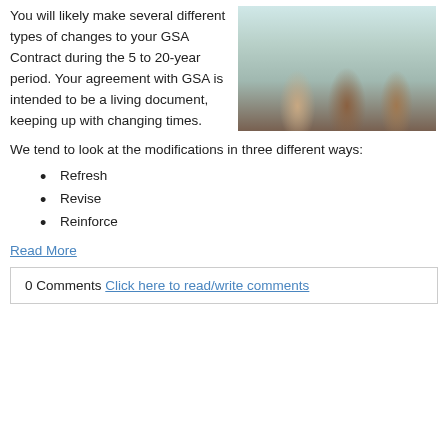You will likely make several different types of changes to your GSA Contract during the 5 to 20-year period.  Your agreement with GSA is intended to be a living document, keeping up with changing times.
[Figure (photo): Three people sitting at a table in a meeting, one pointing at a whiteboard with sticky notes and diagrams in the background.]
We tend to look at the modifications in three different ways:
Refresh
Revise
Reinforce
Read More
0 Comments  Click here to read/write comments